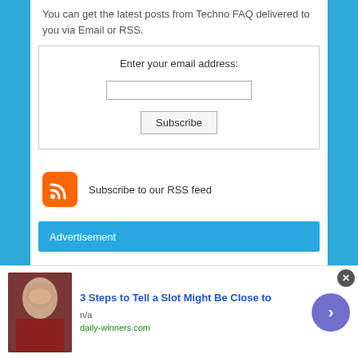You can get the latest posts from Techno FAQ delivered to you via Email or RSS.
Enter your email address:
Subscribe
[Figure (logo): Orange RSS feed icon with white wifi-like signal symbol, rounded corners]
Subscribe to our RSS feed
Advertisement
[Figure (photo): Photo of an older man with short white hair wearing a dark red shirt]
3 Steps to Tell a Slot Might Be Close to
n/a
daily-winners.com